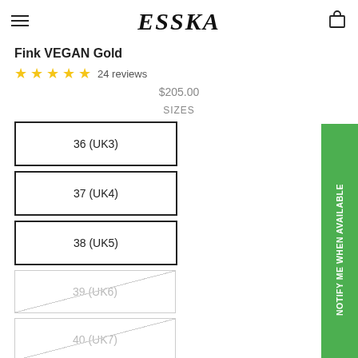ESSKA
Fink VEGAN Gold
★★★★★ 24 reviews
$205.00
SIZES
36 (UK3)
37 (UK4)
38 (UK5)
39 (UK6)
40 (UK7)
41 (UK8)
42 (UK9)
NOTIFY ME WHEN AVAILABLE